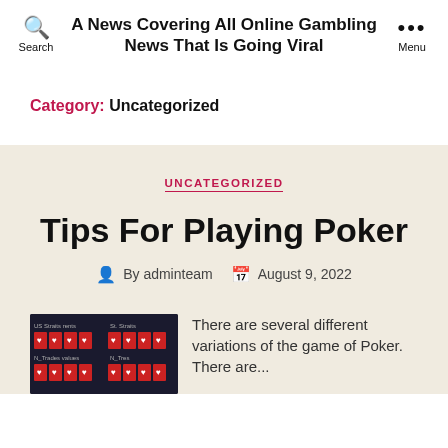A News Covering All Online Gambling News That Is Going Viral
Category: Uncategorized
UNCATEGORIZED
Tips For Playing Poker
By adminteam  August 9, 2022
[Figure (photo): Dark background image showing playing cards arranged in a poker hand grid layout]
There are several different variations of the game of Poker. There are...